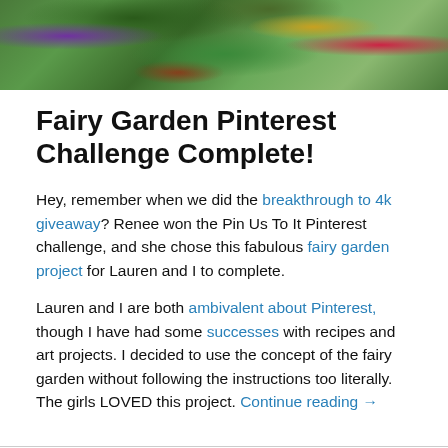[Figure (photo): Top banner photograph showing a fairy garden with green plants, flowers including purple, yellow, and red blooms, and soil/stones visible.]
Fairy Garden Pinterest Challenge Complete!
Hey, remember when we did the breakthrough to 4k giveaway? Renee won the Pin Us To It Pinterest challenge, and she chose this fabulous fairy garden project for Lauren and I to complete.
Lauren and I are both ambivalent about Pinterest, though I have had some successes with recipes and art projects. I decided to use the concept of the fairy garden without following the instructions too literally. The girls LOVED this project. Continue reading →